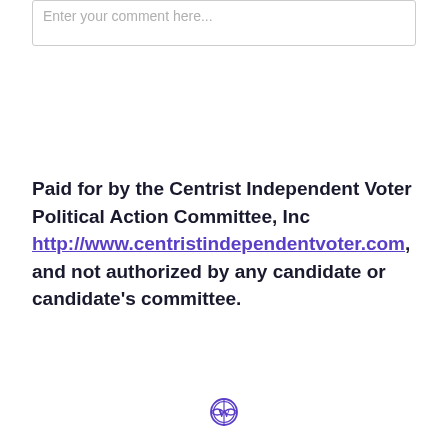Enter your comment here...
Paid for by the Centrist Independent Voter Political Action Committee, Inc http://www.centristindependentvoter.com, and not authorized by any candidate or candidate's committee.
[Figure (logo): WordPress logo icon in purple/blue outline style]